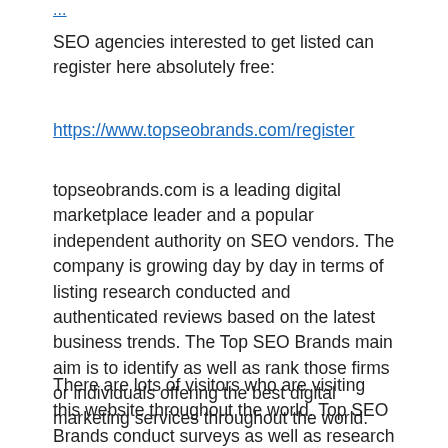SEO agencies interested to get listed can register here absolutely free:
https://www.topseobrands.com/register
topseobrands.com is a leading digital marketplace leader and a popular independent authority on SEO vendors. The company is growing day by day in terms of listing research conducted and authenticated reviews based on the latest business trends. The Top SEO Brands main aim is to identify as well as rank those firms or individuals offering the best digital marketing services throughout the world.
There are lots of visitors who are visiting this website throughout the world. Top SEO Brands conduct surveys as well as research on industry's technologies and trends to help you make a perfect